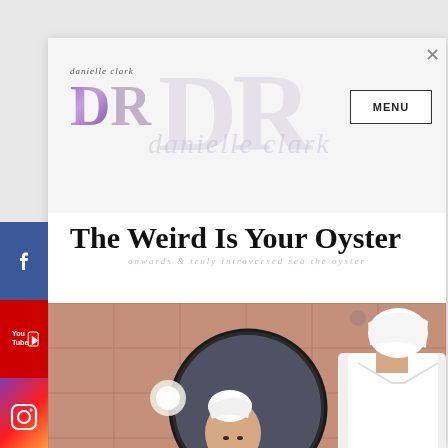[Figure (logo): Danielle Clark blog logo with stylized DR monogram in purple gradient and script text 'danielle clark']
MENU
The Weird Is Your Oyster
[Figure (photo): Two women in white towel head wraps in a bathroom with pink/terracotta tiles, one looking in a round mirror]
[Figure (infographic): Facebook, YouTube, and Instagram social media sidebar icons]